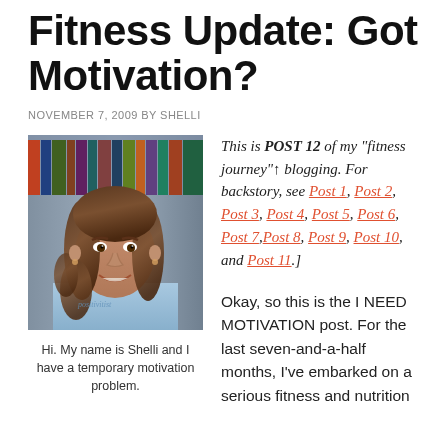Fitness Update: Got Motivation?
NOVEMBER 7, 2009 BY SHELLI
[Figure (photo): Photo of a smiling woman with brown wavy hair wearing a light blue t-shirt, standing in front of a bookshelf]
Hi. My name is Shelli and I have a temporary motivation problem.
This is POST 12 of my "fitness journey"↑ blogging. For backstory, see Post 1, Post 2, Post 3, Post 4, Post 5, Post 6, Post 7, Post 8, Post 9, Post 10, and Post 11.]
Okay, so this is the I NEED MOTIVATION post. For the last seven-and-a-half months, I've embarked on a serious fitness and nutrition